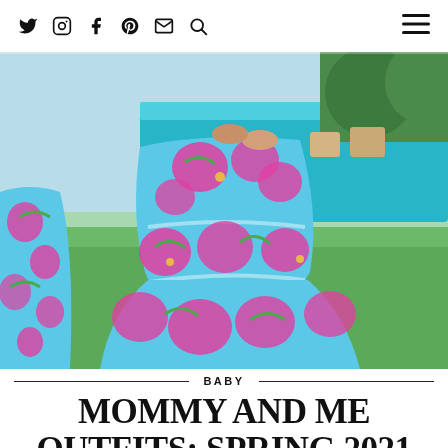Social icons: Twitter, Instagram, Facebook, Pinterest, Email, Search; Hamburger menu
[Figure (photo): Two females wearing matching blue and pink floral print tiered dresses standing on green grass next to a swimming pool. The image shows them from waist down, one adult and one child, both wearing colorful Lilly Pulitzer-style spring dresses.]
BABY
MOMMY AND ME OUTFITS: SPRING 2021